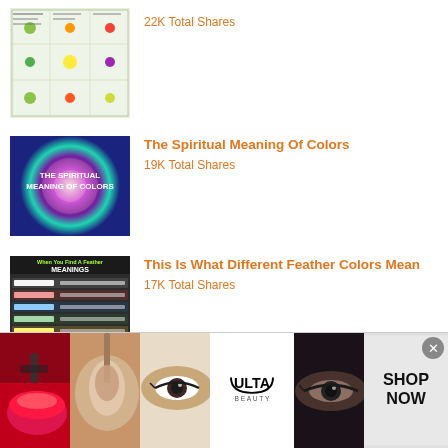[Figure (screenshot): Thumbnail image of a food/vegetable chart infographic]
22K Total Shares
[Figure (screenshot): Thumbnail image titled 'The Spiritual Meaning Of Colors' with colorful psychedelic background]
The Spiritual Meaning Of Colors
19K Total Shares
[Figure (screenshot): Thumbnail image titled 'When You Find A Feather - Meanings' showing feather color guide]
This Is What Different Feather Colors Mean
17K Total Shares
[Figure (screenshot): Thumbnail of 'Spiritual Awakening' article with blue flame on dark background]
How Many Of These 51 Spiritual Awakening
[Figure (photo): Ulta Beauty advertisement banner showing makeup, lips, eyes, brush, and Ulta logo with 'Shop Now' button]